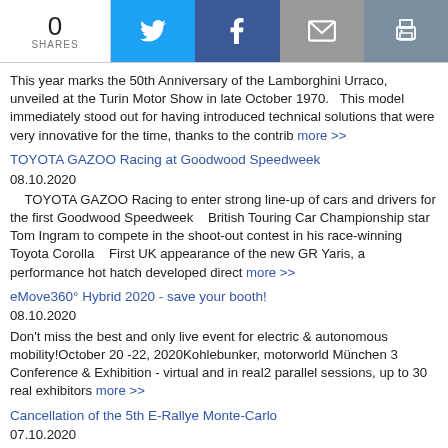0 SHARES [social icons: Twitter, Facebook, Email, Print]
This year marks the 50th Anniversary of the Lamborghini Urraco, unveiled at the Turin Motor Show in late October 1970.   This model immediately stood out for having introduced technical solutions that were very innovative for the time, thanks to the contrib more >>
TOYOTA GAZOO Racing at Goodwood Speedweek
08.10.2020
TOYOTA GAZOO Racing to enter strong line-up of cars and drivers for the first Goodwood Speedweek    British Touring Car Championship star Tom Ingram to compete in the shoot-out contest in his race-winning Toyota Corolla    First UK appearance of the new GR Yaris, a performance hot hatch developed direct more >>
eMove360° Hybrid 2020 - save your booth!
08.10.2020
Don't miss the best and only live event for electric & autonomous mobility!October 20 -22, 2020Kohlebunker, motorworld München 3 Conference & Exhibition - virtual and in real2 parallel sessions, up to 30 real exhibitors more >>
Cancellation of the 5th E-Rallye Monte-Carlo
07.10.2020
After the cancellation of the Historic and Formula 1 Grands Prix due to the Covid-19 epidemic, the Automobile Club de Monaco